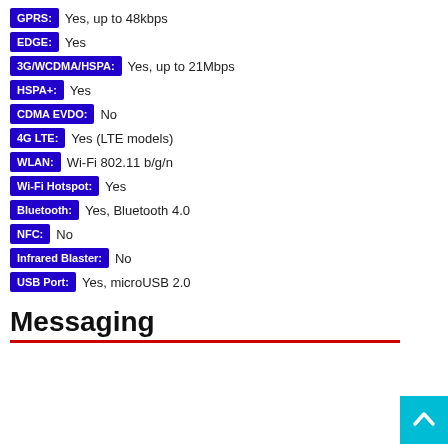GPRS: Yes, up to 48kbps
EDGE: Yes
3G/WCDMA/HSPA: Yes, up to 21Mbps
HSPA+: Yes
CDMA EVDO: No
4G LTE: Yes (LTE models)
WLAN: Wi-Fi 802.11 b/g/n
Wi-Fi Hotspot: Yes
Bluetooth: Yes, Bluetooth 4.0
NFC: No
Infrared Blaster: No
USB Port: Yes, microUSB 2.0
Messaging